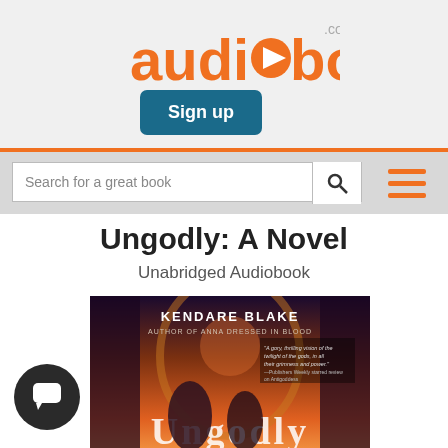[Figure (logo): audiobooks.com logo in orange with play button icon inside the letter 'o']
[Figure (screenshot): Sign up button in teal/dark blue color]
[Figure (screenshot): Search bar with placeholder text 'Search for a great book', search icon, and hamburger menu icon]
Ungodly: A Novel
Unabridged Audiobook
[Figure (illustration): Book cover for 'Ungodly: A Novel' by Kendare Blake, author of Anna Dressed in Blood. Shows two female figures, one with a quote from Publishers Weekly. Dark fantasy style art.]
[Figure (screenshot): Dark circular chat/support button with white chat icon in lower left corner]